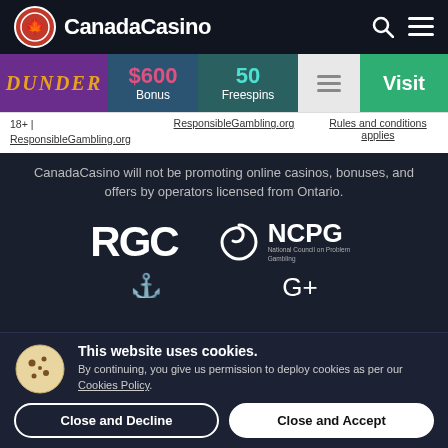CanadaCasino
[Figure (infographic): Dunder casino promotional row showing $600 Bonus, 50 Freespins, and Visit button]
18+ | ResponsibleGambling.org | ResponsibleGambling.org | Rules and conditions applies
CanadaCasino will not be promoting online casinos, bonuses, and offers by operators licensed from Ontario.
[Figure (logo): RGC logo in white]
[Figure (logo): NCPG National Council on Problem Gambling logo in white]
This website uses cookies. By continuing, you give us permission to deploy cookies as per our Cookies Policy.
Close and Decline
Close and Accept